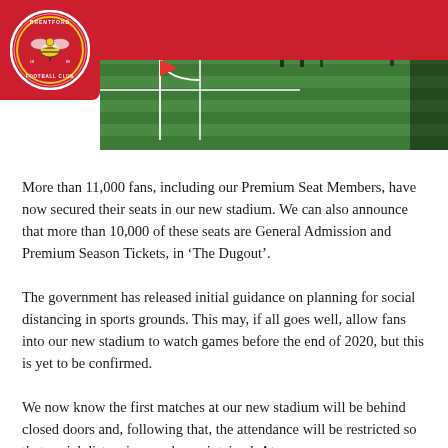[Figure (photo): Brentford Football Club logo - circular badge with bee on red background]
[Figure (photo): Football stadium interior photo showing green pitch with corner flag, red seating stands and players visible in background]
More than 11,000 fans, including our Premium Seat Members, have now secured their seats in our new stadium. We can also announce that more than 10,000 of these seats are General Admission and Premium Season Tickets, in ‘The Dugout’.
The government has released initial guidance on planning for social distancing in sports grounds. This may, if all goes well, allow fans into our new stadium to watch games before the end of 2020, but this is yet to be confirmed.
We now know the first matches at our new stadium will be behind closed doors and, following that, the attendance will be restricted so that social distancing can be maintained. At